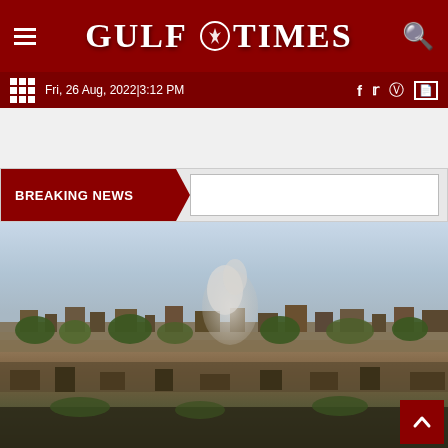GULF TIMES
Fri, 26 Aug, 2022|3:12 PM
BREAKING NEWS
[Figure (photo): Distant view of a city or town with smoke or dust rising in the background against a hazy sky, showing urban buildings and vegetation in the foreground.]